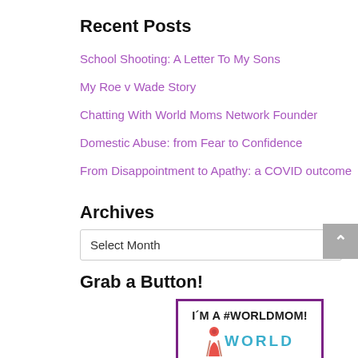Recent Posts
School Shooting: A Letter To My Sons
My Roe v Wade Story
Chatting With World Moms Network Founder
Domestic Abuse: from Fear to Confidence
From Disappointment to Apathy: a COVID outcome
Archives
Select Month
Grab a Button!
[Figure (illustration): World Moms badge button with purple border, text reading I'M A #WORLDMOM! WORLD MOMS with a colorful woman silhouette]